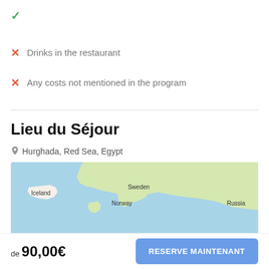✓
✗ Drinks in the restaurant
✗ Any costs not mentioned in the program
Lieu du Séjour
Hurghada, Red Sea, Egypt
[Figure (map): Map showing Northern Europe including Iceland, Norway, Sweden, and Russia]
de 90,00€
RESERVE MAINTENANT